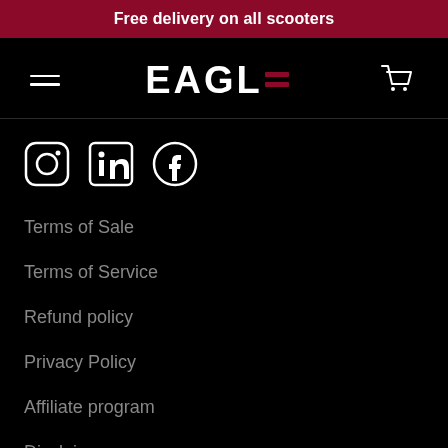Free delivery on all scooters
[Figure (logo): Eagle scooters logo with hamburger menu and cart icon navigation bar]
[Figure (infographic): Social media icons: Instagram, LinkedIn, Facebook]
Terms of Sale
Terms of Service
Refund policy
Privacy Policy
Affiliate program
Disclaimer